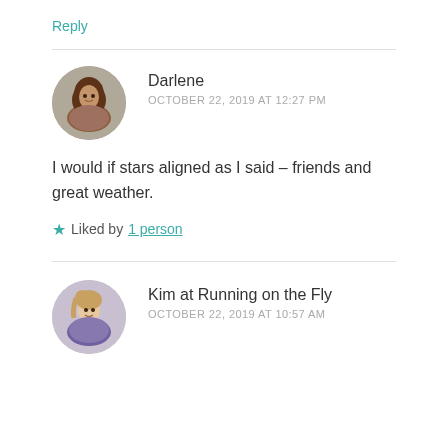Reply
Darlene
OCTOBER 22, 2019 AT 12:27 PM
I would if stars aligned as I said – friends and great weather.
★ Liked by 1 person
Kim at Running on the Fly
OCTOBER 22, 2019 AT 10:57 AM